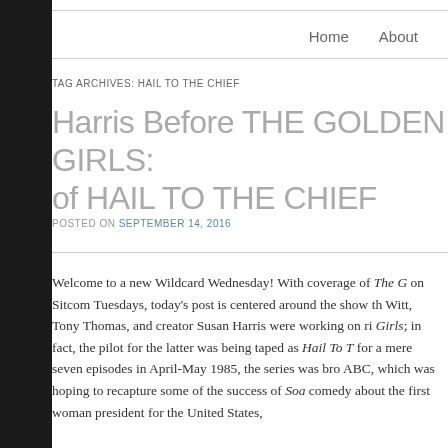Home    About
TAG ARCHIVES: HAIL TO THE CHIEF
Harris Before THE GOLDEN GIRLS: of HAIL TO THE CHIEF
POSTED ON SEPTEMBER 14, 2016
Welcome to a new Wildcard Wednesday! With coverage of The G on Sitcom Tuesdays, today's post is centered around the show th Witt, Tony Thomas, and creator Susan Harris were working on ri Girls; in fact, the pilot for the latter was being taped as Hail To T for a mere seven episodes in April-May 1985, the series was bro ABC, which was hoping to recapture some of the success of Soa comedy about the first woman president for the United States,